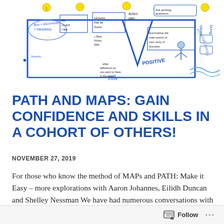[Figure (illustration): Hand-drawn visual map/facilitation diagram with blue ink showing various coaching and PATH elements including 'Life Coach I like', 'Action Steps', 'Lessons that be Some', 'Title', 'Positive', 'POSITIVE DATES', 'Ask probing questions', 'Summarise the main points of your story of Success', 'what difference do you want to have in the world?', 'Values Doing you Work' with speech bubbles, arrows, and colorful drawings]
PATH AND MAPS: GAIN CONFIDENCE AND SKILLS IN A COHORT OF OTHERS!
NOVEMBER 27, 2019
For those who know the method of MAPs and PATH: Make it Easy – more explorations with Aaron Johannes, Eilidh Duncan and Shelley Nessman We have had numerous conversations with many of you who want to dig in and improve your facilitation